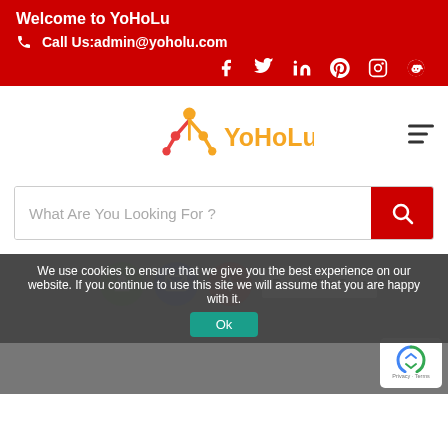Welcome to YoHoLu
Call Us:admin@yoholu.com
[Figure (logo): YoHoLu logo with orange and red figure icon and orange text]
What Are You Looking For ?
Post ADs Free
We use cookies to ensure that we give you the best experience on our website. If you continue to use this site we will assume that you are happy with it.
Ok
Home / Blog Details /
Buying a character in Singapore: Top 3 Residential